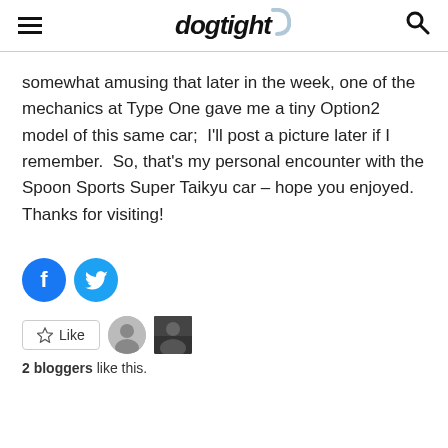dogtight
somewhat amusing that later in the week, one of the mechanics at Type One gave me a tiny Option2 model of this same car;  I'll post a picture later if I remember.  So, that's my personal encounter with the Spoon Sports Super Taikyu car – hope you enjoyed.  Thanks for visiting!
[Figure (infographic): Facebook and Twitter share buttons as circular teal/blue icons]
[Figure (infographic): Like button with star icon, and two blogger avatar thumbnails. Text: 2 bloggers like this.]